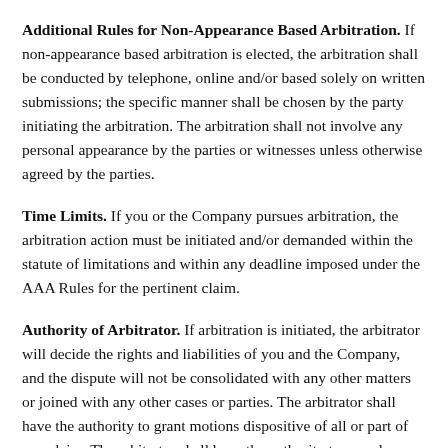Additional Rules for Non-Appearance Based Arbitration. If non-appearance based arbitration is elected, the arbitration shall be conducted by telephone, online and/or based solely on written submissions; the specific manner shall be chosen by the party initiating the arbitration. The arbitration shall not involve any personal appearance by the parties or witnesses unless otherwise agreed by the parties.
Time Limits. If you or the Company pursues arbitration, the arbitration action must be initiated and/or demanded within the statute of limitations and within any deadline imposed under the AAA Rules for the pertinent claim.
Authority of Arbitrator. If arbitration is initiated, the arbitrator will decide the rights and liabilities of you and the Company, and the dispute will not be consolidated with any other matters or joined with any other cases or parties. The arbitrator shall have the authority to grant motions dispositive of all or part of any claim. The arbitrator shall have the authority to award monetary damages, and to grant any non-monetary remedy or relief available to an individual under applicable law, the AAA Rules,